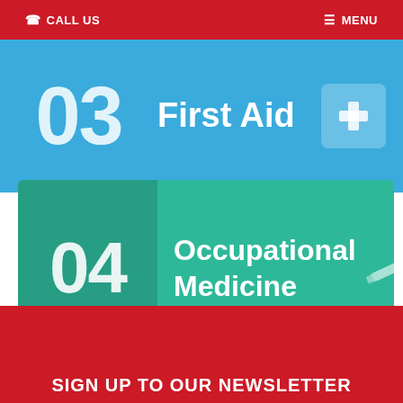CALL US  MENU
[Figure (infographic): Blue banner card number 03 labeled First Aid with a medical cross icon on the right]
[Figure (infographic): Teal/green banner card number 04 labeled Occupational Medicine with a syringe icon on the right, with downward pointer arrow at bottom]
SIGN UP TO OUR NEWSLETTER